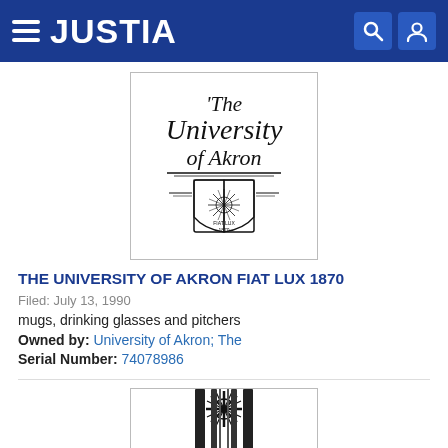JUSTIA
[Figure (logo): The University of Akron logo with text and shield emblem]
THE UNIVERSITY OF AKRON FIAT LUX 1870
Filed: July 13, 1990
mugs, drinking glasses and pitchers
Owned by: University of Akron; The
Serial Number: 74078986
[Figure (logo): Partial University of Akron shield emblem at bottom of page]